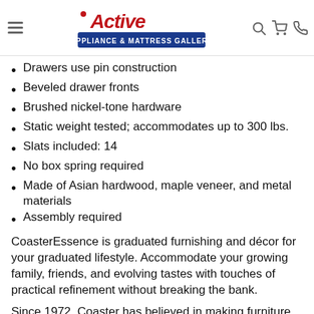Active Appliance & Mattress Gallery
Drawers use pin construction
Beveled drawer fronts
Brushed nickel-tone hardware
Static weight tested; accommodates up to 300 lbs.
Slats included: 14
No box spring required
Made of Asian hardwood, maple veneer, and metal materials
Assembly required
CoasterEssence is graduated furnishing and décor for your graduated lifestyle. Accommodate your growing family, friends, and evolving tastes with touches of practical refinement without breaking the bank.
Since 1972, Coaster has believed in making furniture that